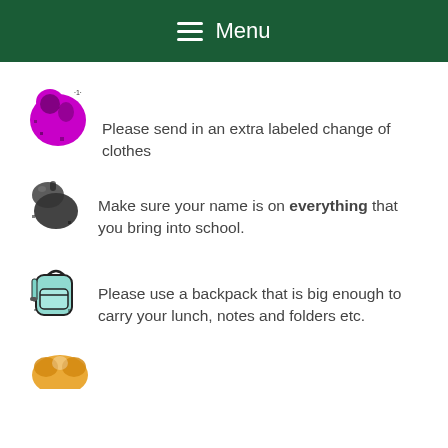Menu
Please send in an extra labeled change of clothes
Make sure your name is on everything that you bring into school.
Please use a backpack that is big enough to carry your lunch, notes and folders etc.
[Figure (illustration): Clipart of a pretzel or circular food item, partially visible at bottom]